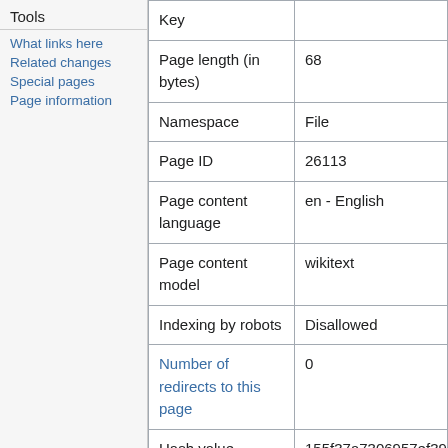Tools
What links here
Related changes
Special pages
Page information
| Key |  |
| --- | --- |
| Page length (in bytes) | 68 |
| Namespace | File |
| Page ID | 26113 |
| Page content language | en - English |
| Page content model | wikitext |
| Indexing by robots | Disallowed |
| Number of redirects to this page | 0 |
| Hash value | 155f37a7306957ef39ebcc78 |